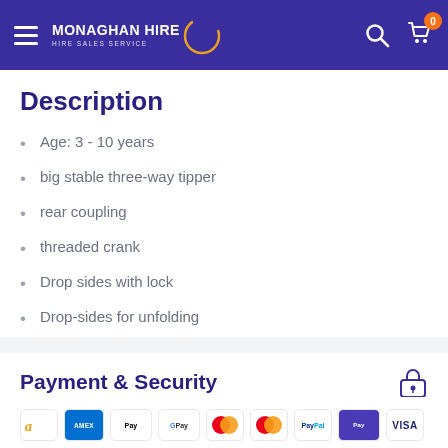Monaghan Hire — Hire Sales Service
Description
Age: 3 - 10 years
big stable three-way tipper
rear coupling
threaded crank
Drop sides with lock
Drop-sides for unfolding
Payment & Security
[Figure (other): Payment method logos: Amazon, Amex, Apple Pay, Google Pay, Mastercard (x2), PayPal, Samsung Pay, Visa]